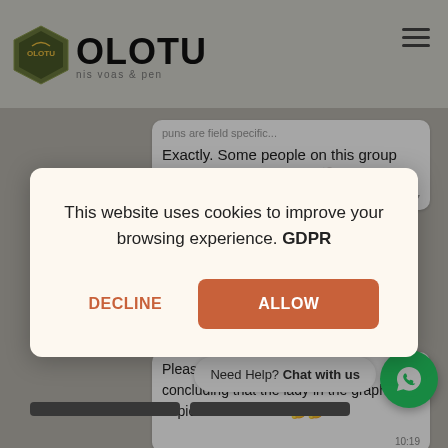[Figure (screenshot): OLOTU website screenshot showing chat messages in background with cookie consent modal overlay. Background shows chat messages about people being 'too serious minded' and 'graphics depicts an olosho'. Foreground shows GDPR cookie consent popup with DECLINE and ALLOW buttons. WhatsApp chat support button visible at bottom right.]
puns are field specific...
Exactly. Some people on this group are too serious minded 🧑 10:07
This website uses cookies to improve your browsing experience. GDPR
DECLINE
ALLOW
Please on what basics are you concluding that the lady in the graphics depicts an olosho?? 🤔🤔
Need Help? Chat with us